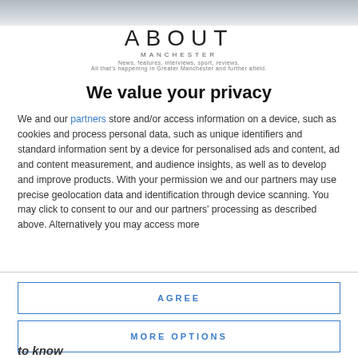[Figure (photo): Top banner image, partially visible, appears to be a photo of a person or scene in muted grey tones.]
ABOUT MANCHESTER
News, features, interviews, sport, reviews. All that's happening in Greater Manchester and further afield.
We value your privacy
We and our partners store and/or access information on a device, such as cookies and process personal data, such as unique identifiers and standard information sent by a device for personalised ads and content, ad and content measurement, and audience insights, as well as to develop and improve products. With your permission we and our partners may use precise geolocation data and identification through device scanning. You may click to consent to our and our partners' processing as described above. Alternatively you may access more
AGREE
MORE OPTIONS
to know